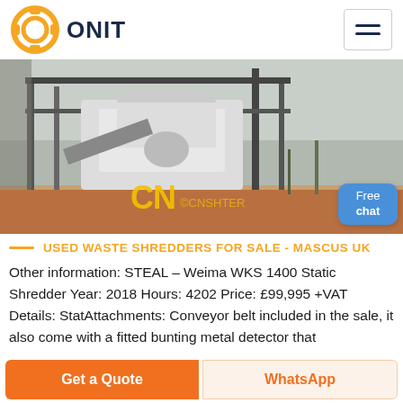ONIT
[Figure (photo): Industrial waste shredder machine inside a steel-frame structure, outdoors, with CN CRUSHER watermark overlay.]
USED WASTE SHREDDERS FOR SALE - MASCUS UK
Other information: STEAL – Weima WKS 1400 Static Shredder Year: 2018 Hours: 4202 Price: £99,995 +VAT Details: StatAttachments: Conveyor belt included in the sale, it also come with a fitted bunting metal detector that